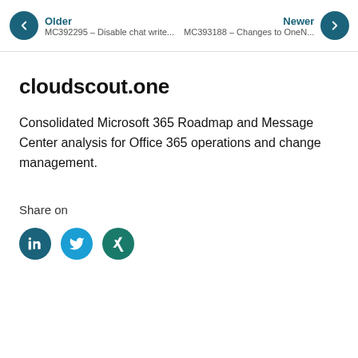Older MC392295 – Disable chat write... | Newer MC393188 – Changes to OneN...
cloudscout.one
Consolidated Microsoft 365 Roadmap and Message Center analysis for Office 365 operations and change management.
Share on
[Figure (other): Three social media share buttons: LinkedIn (teal circle), Twitter (blue circle), Xing (dark teal circle)]